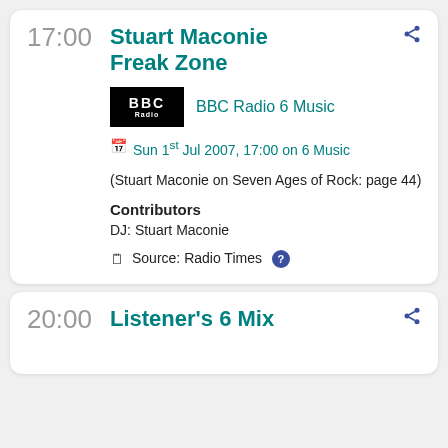17:00
Stuart Maconie Freak Zone
[Figure (logo): BBC logo — black rectangle with BBC text in white]
BBC Radio 6 Music
Sun 1st Jul 2007, 17:00 on 6 Music
(Stuart Maconie on Seven Ages of Rock: page 44)
Contributors
DJ: Stuart Maconie
Source: Radio Times
20:00
Listener's 6 Mix